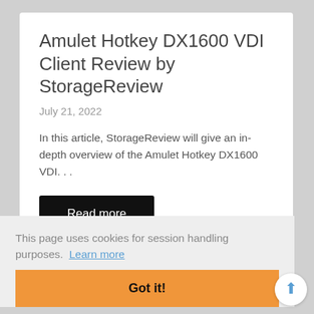Amulet Hotkey DX1600 VDI Client Review by StorageReview
July 21, 2022
In this article, StorageReview will give an in-depth overview of the Amulet Hotkey DX1600 VDI…
Read more
This page uses cookies for session handling purposes.  Learn more
Got it!
June 2022 Newsletter
Stratodesk NoTouch OS 3.4 Has Arrived, Enabling High Performance, Secure Cloud Workspaces!